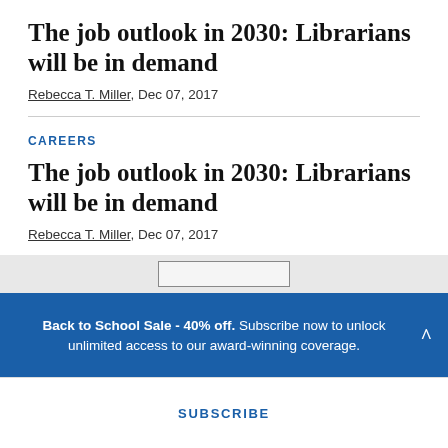The job outlook in 2030: Librarians will be in demand
Rebecca T. Miller, Dec 07, 2017
CAREERS
The job outlook in 2030: Librarians will be in demand
Rebecca T. Miller, Dec 07, 2017
Back to School Sale - 40% off. Subscribe now to unlock unlimited access to our award-winning coverage.
SUBSCRIBE